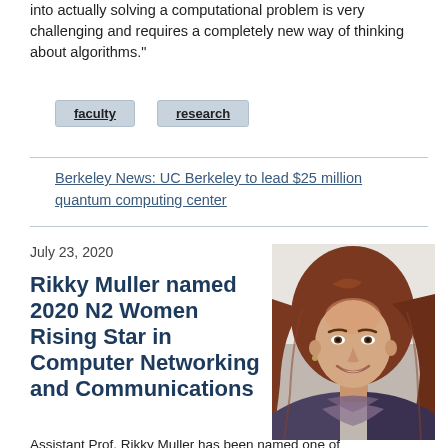into actually solving a computational problem is very challenging and requires a completely new way of thinking about algorithms."
faculty
research
Berkeley News: UC Berkeley to lead $25 million quantum computing center
July 23, 2020
Rikky Muller named 2020 N2 Women Rising Star in Computer Networking and Communications
[Figure (photo): Portrait photo of Rikky Muller, a woman with long reddish-brown hair, smiling, wearing a patterned scarf]
Assistant Prof. Rikky Muller has been named one of